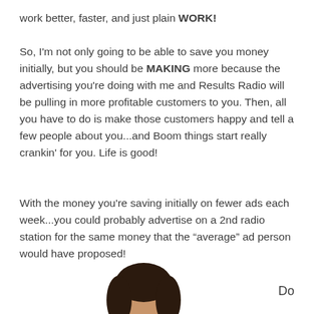work better, faster, and just plain WORK!
So, I'm not only going to be able to save you money initially, but you should be MAKING more because the advertising you're doing with me and Results Radio will be pulling in more profitable customers to you. Then, all you have to do is make those customers happy and tell a few people about you...and Boom things start really crankin' for you. Life is good!
With the money you're saving initially on fewer ads each week...you could probably advertise on a 2nd radio station for the same money that the “average” ad person would have proposed!
[Figure (photo): Bottom of a person's head/hair visible at the bottom center of the page]
Do